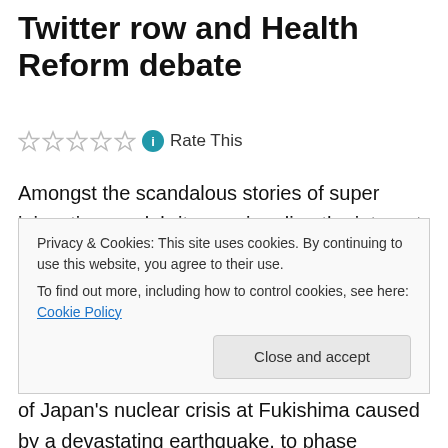Twitter row and Health Reform debate
Rate This
Amongst the scandalous stories of super injunctions, celebrity gossip ruling the internet and ideological feuds in Parliament, genuinely groundbreaking news from Germany that could have global implications is hiding. Angela Merkel, the Christian Democrat Chancellor, has taken the decision in the wake of Japan's nuclear crisis at Fukishima caused by a devastating earthquake, to phase
Privacy & Cookies: This site uses cookies. By continuing to use this website, you agree to their use. To find out more, including how to control cookies, see here: Cookie Policy
Close and accept